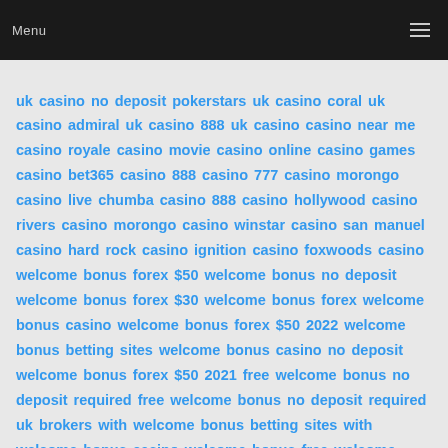Menu
uk casino no deposit pokerstars uk casino coral uk casino admiral uk casino 888 uk casino casino near me casino royale casino movie casino online casino games casino bet365 casino 888 casino 777 casino morongo casino live chumba casino 888 casino hollywood casino rivers casino morongo casino winstar casino san manuel casino hard rock casino ignition casino foxwoods casino welcome bonus forex $50 welcome bonus no deposit welcome bonus forex $30 welcome bonus forex welcome bonus casino welcome bonus forex $50 2022 welcome bonus betting sites welcome bonus casino no deposit welcome bonus forex $50 2021 free welcome bonus no deposit required free welcome bonus no deposit required uk brokers with welcome bonus betting sites with welcome bonus casino welcome bonus free welcome bonus no deposit best welcome bonus credit cards casino welcome bonus no deposit betway